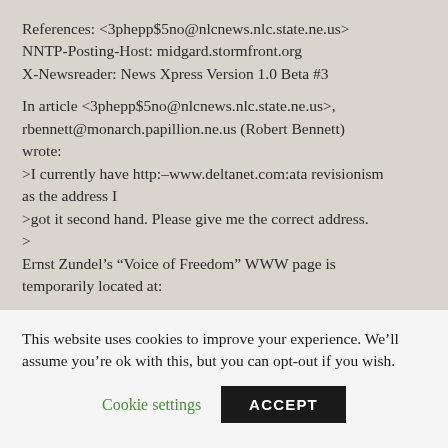References: <3phepp$5no@nlcnews.nlc.state.ne.us>
NNTP-Posting-Host: midgard.stormfront.org
X-Newsreader: News Xpress Version 1.0 Beta #3

In article <3phepp$5no@nlcnews.nlc.state.ne.us>, rbennett@monarch.papillion.ne.us (Robert Bennett) wrote:
>I currently have http:–www.deltanet.com:ata revisionism as the address I
>got it second hand. Please give me the correct address.
>
Ernst Zundel’s “Voice of Freedom” WWW page is temporarily located at:
This website uses cookies to improve your experience. We’ll assume you’re ok with this, but you can opt-out if you wish.
Cookie settings   ACCEPT